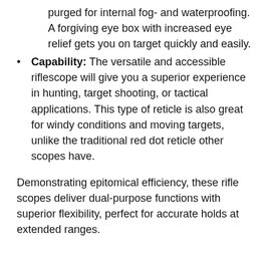purged for internal fog- and waterproofing. A forgiving eye box with increased eye relief gets you on target quickly and easily.
Capability: The versatile and accessible riflescope will give you a superior experience in hunting, target shooting, or tactical applications. This type of reticle is also great for windy conditions and moving targets, unlike the traditional red dot reticle other scopes have.
Demonstrating epitomical efficiency, these rifle scopes deliver dual-purpose functions with superior flexibility, perfect for accurate holds at extended ranges.